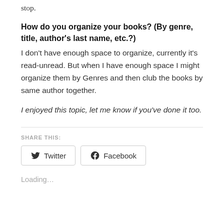stop.
How do you organize your books? (By genre, title, author's last name, etc.?)
I don't have enough space to organize, currently it's read-unread. But when I have enough space I might organize them by Genres and then club the books by same author together.
I enjoyed this topic, let me know if you've done it too.
SHARE THIS:
Twitter  Facebook
Loading…